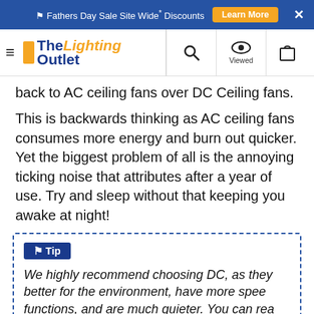Fathers Day Sale Site Wide* Discounts  Learn More  ×
The Lighting Outlet — navigation bar with hamburger, search, viewed, cart icons
back to AC ceiling fans over DC Ceiling fans.
This is backwards thinking as AC ceiling fans consumes more energy and burn out quicker. Yet the biggest problem of all is the annoying ticking noise that attributes after a year of use. Try and sleep without that keeping you awake at night!
⚑ Tip
We highly recommend choosing DC, as they better for the environment, have more spee functions, and are much quieter. You can rea about AC vs DC ceiling fans